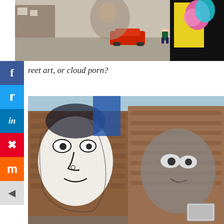[Figure (photo): Street scene with colorful murals on buildings, a red car parked, and a person standing near a painted wall with vibrant street art]
reet art, or cloud porn?
[Figure (photo): Large-scale street art murals on brick buildings showing painted faces and figures, urban alleyway setting]